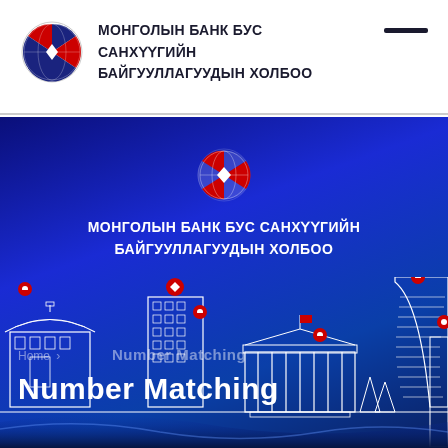[Figure (logo): Organization logo: globe with red and dark segments with diamond center]
МОНГОЛЫН БАНК БУС САНХҮҮГИЙН БАЙГУУЛЛАГУУДЫН ХОЛБОО
[Figure (illustration): Full-width dark blue banner with organization logo centered, Mongolian text, and city skyline silhouette with location pins and Number Matching text overlay]